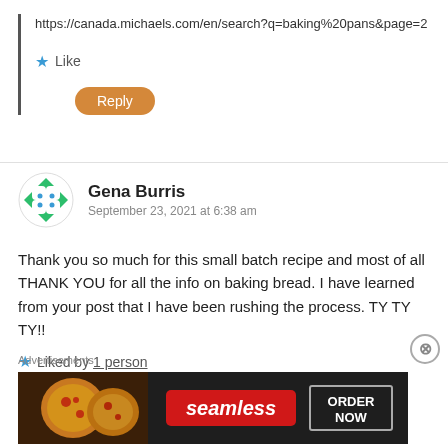https://canada.michaels.com/en/search?q=baking%20pans&page=2
Like
Reply
Gena Burris
September 23, 2021 at 6:38 am
Thank you so much for this small batch recipe and most of all THANK YOU for all the info on baking bread. I have learned from your post that I have been rushing the process. TY TY TY!!
Liked by 1 person
Reply
Advertisements
[Figure (other): Seamless food delivery advertisement banner with pizza image, red Seamless logo badge, and ORDER NOW button]